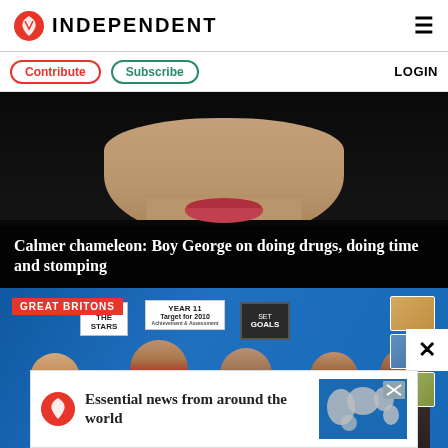INDEPENDENT
Contribute | Subscribe | LOGIN
[Figure (photo): Close-up photo of Boy George's face with red lips against dark background]
Calmer chameleon: Boy George on doing drugs, doing time and stomping
[Figure (photo): Group of school students standing in front of a blue noticeboard with 'YEAR 11 Target for 2010' and 'SET GOALS' signs, labeled GREAT BRITONS]
[Figure (infographic): Advertisement banner: Essential news from around the world, with Independent logo and world map graphic]